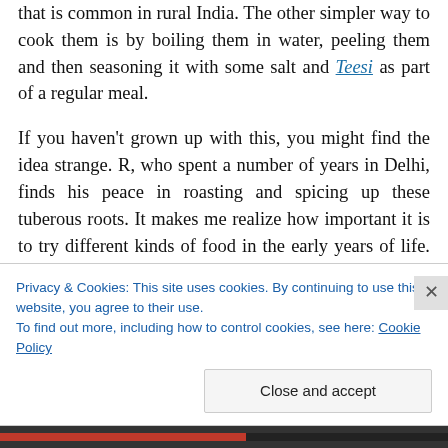that is common in rural India. The other simpler way to cook them is by boiling them in water, peeling them and then seasoning it with some salt and Teesi as part of a regular meal.
If you haven't grown up with this, you might find the idea strange. R, who spent a number of years in Delhi, finds his peace in roasting and spicing up these tuberous roots. It makes me realize how important it is to try different kinds of food in the early years of life. The food that we eat, especially
Privacy & Cookies: This site uses cookies. By continuing to use this website, you agree to their use.
To find out more, including how to control cookies, see here: Cookie Policy